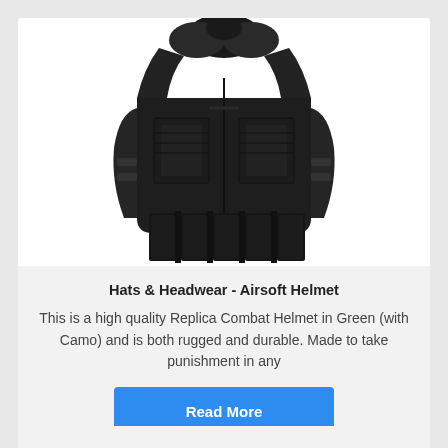[Figure (photo): A black tactical/airsoft vest or body armor vest shown from the front, featuring multiple magazine pouches at the bottom and a padded collar area at the top.]
Hats & Headwear - Airsoft Helmet
This is a high quality Replica Combat Helmet in Green (with Camo) and is both rugged and durable. Made to take punishment in any
Read More